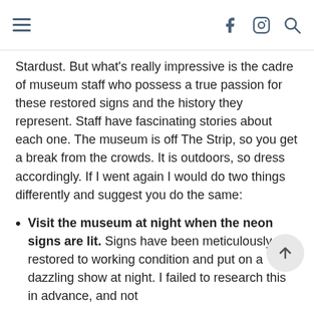≡  f  [instagram]  [search]
Stardust. But what's really impressive is the cadre of museum staff who possess a true passion for these restored signs and the history they represent. Staff have fascinating stories about each one. The museum is off The Strip, so you get a break from the crowds. It is outdoors, so dress accordingly. If I went again I would do two things differently and suggest you do the same:
Visit the museum at night when the neon signs are lit. Signs have been meticulously restored to working condition and put on a dazzling show at night. I failed to research this in advance, and not